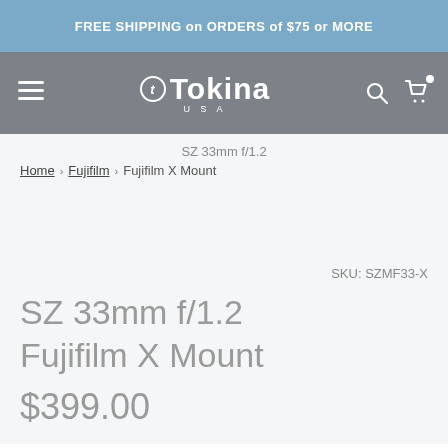FREE SHIPPING on ORDERS of $75 or MORE
[Figure (logo): Tokina USA logo with hamburger menu, search icon, and cart icon on gray navigation bar]
SZ 33mm f/1.2
Home › Fujifilm › Fujifilm X Mount
SKU: SZMF33-X
SZ 33mm f/1.2 Fujifilm X Mount
$399.00